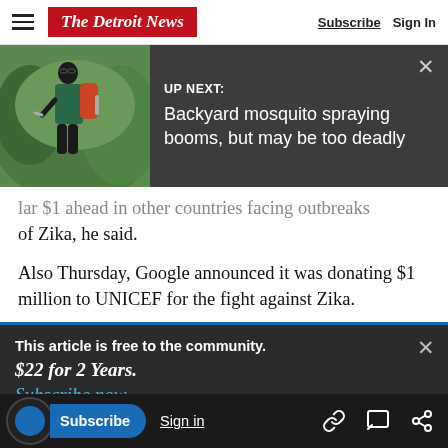The Detroit News | Subscribe | Sign In
[Figure (screenshot): Up Next banner with person spraying mosquito repellent in a backyard, on dark grey background. Text: UP NEXT: Backyard mosquito spraying booms, but may be too deadly]
...lar $1 ahead in other countries facing outbreaks of Zika, he said.
Also Thursday, Google announced it was donating $1 million to UNICEF for the fight against Zika.
This article is free to the community. $22 for 2 Years. Subscribe now
seen a more than 3,000 percent increase in global
Subscribe | Sign in | link icon | comment icon | share icon